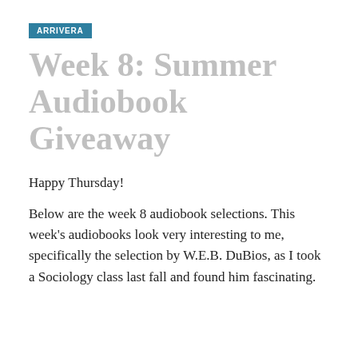ARRIVERA
Week 8: Summer Audiobook Giveaway
Happy Thursday!
Below are the week 8 audiobook selections. This week's audiobooks look very interesting to me, specifically the selection by W.E.B. DuBios, as I took a Sociology class last fall and found him fascinating.